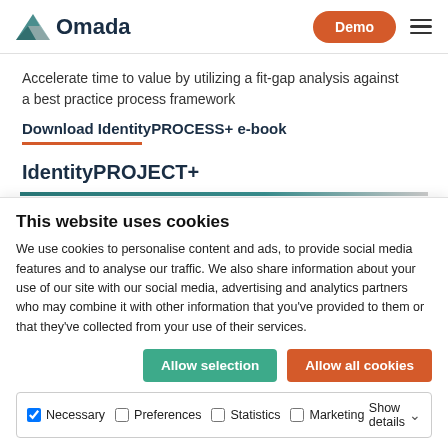Omada | Demo
Accelerate time to value by utilizing a fit-gap analysis against a best practice process framework
Download IdentityPROCESS+ e-book
IdentityPROJECT+
This website uses cookies
We use cookies to personalise content and ads, to provide social media features and to analyse our traffic. We also share information about your use of our site with our social media, advertising and analytics partners who may combine it with other information that you've provided to them or that they've collected from your use of their services.
Allow selection | Allow all cookies
Necessary | Preferences | Statistics | Marketing | Show details